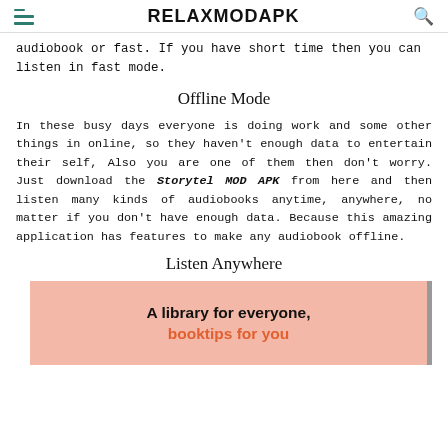RELAXMODAPK
audiobook or fast. If you have short time then you can listen in fast mode.
Offline Mode
In these busy days everyone is doing work and some other things in online, so they haven't enough data to entertain their self, Also you are one of them then don't worry. Just download the Storytel MOD APK from here and then listen many kinds of audiobooks anytime, anywhere, no matter if you don't have enough data. Because this amazing application has features to make any audiobook offline.
Listen Anywhere
[Figure (illustration): Pink promotional banner reading 'A library for everyone, booktips for you' with orange accent text, partially cut off on the right with a dark border.]